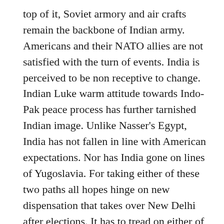top of it, Soviet armory and air crafts remain the backbone of Indian army. Americans and their NATO allies are not satisfied with the turn of events. India is perceived to be non receptive to change. Indian Luke warm attitude towards Indo-Pak peace process has further tarnished Indian image. Unlike Nasser's Egypt, India has not fallen in line with American expectations. Nor has India gone on lines of Yugoslavia. For taking either of these two paths all hopes hinge on new dispensation that takes over New Delhi after elections. It has to tread on either of the two paths. Make peace with neighbors and survive or be indifferent to change and perish. It remains to be seen what way India moves. Nehru's India awaits either of the two eventualities.